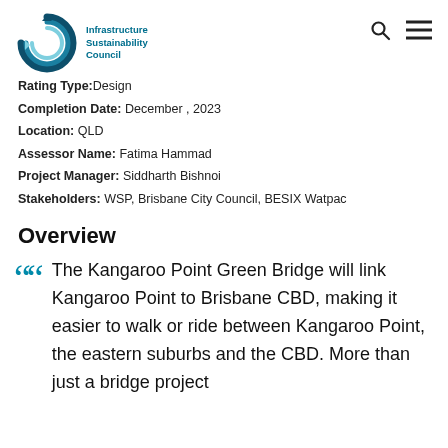[Figure (logo): Infrastructure Sustainability Council circular logo in teal/dark blue with text 'Infrastructure Sustainability Council']
Rating Type: Design
Completion Date: December , 2023
Location: QLD
Assessor Name: Fatima Hammad
Project Manager: Siddharth Bishnoi
Stakeholders: WSP, Brisbane City Council, BESIX Watpac
Overview
The Kangaroo Point Green Bridge will link Kangaroo Point to Brisbane CBD, making it easier to walk or ride between Kangaroo Point, the eastern suburbs and the CBD. More than just a bridge project